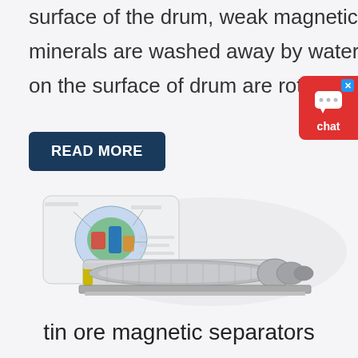surface of the drum, weak magnetic substance and nonmagnetic minerals are washed away by water, the absorbed magnetic minerals on the surface of drum are rotated with the drum and taken out of
READ MORE
[Figure (engineering-diagram): Diagram and photograph of a tin ore magnetic drum separator showing cutaway schematic and full machine view with yellow casing and mechanical drive.]
tin ore magnetic separators